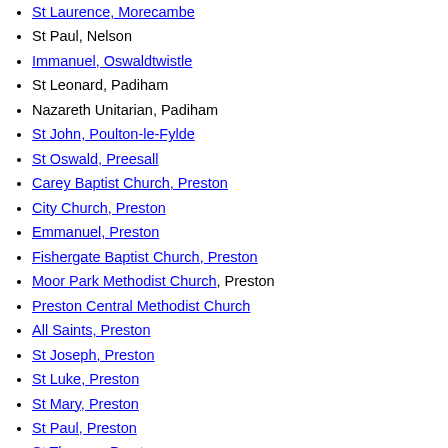St Laurence, Morecambe
St Paul, Nelson
Immanuel, Oswaldtwistle
St Leonard, Padiham
Nazareth Unitarian, Padiham
St John, Poulton-le-Fylde
St Oswald, Preesall
Carey Baptist Church, Preston
City Church, Preston
Emmanuel, Preston
Fishergate Baptist Church, Preston
Moor Park Methodist Church, Preston
Preston Central Methodist Church
All Saints, Preston
St Joseph, Preston
St Luke, Preston
St Mary, Preston
St Paul, Preston
St Thomas, Preston
St Thomas of Canterbury and the English Martyrs Church, Preston
St Peter, Quernmore
St John, Rawtenstall
St Anne, St Anne's-on-the-Sea
St Thomas, St Anne's-on-the-Sea